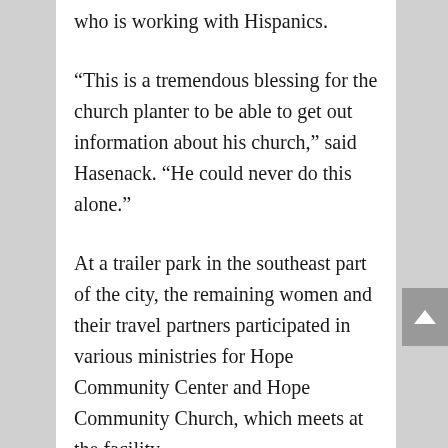who is working with Hispanics.
“This is a tremendous blessing for the church planter to be able to get out information about his church,” said Hasenack. “He could never do this alone.”
At a trailer park in the southeast part of the city, the remaining women and their travel partners participated in various ministries for Hope Community Center and Hope Community Church, which meets at the facility.
One of the biggest hits at the trailer park was a handbell concert on an outdoor basketball